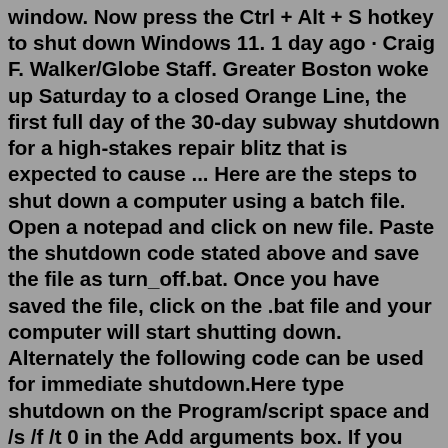window. Now press the Ctrl + Alt + S hotkey to shut down Windows 11. 1 day ago · Craig F. Walker/Globe Staff. Greater Boston woke up Saturday to a closed Orange Line, the first full day of the 30-day subway shutdown for a high-stakes repair blitz that is expected to cause ... Here are the steps to shut down a computer using a batch file. Open a notepad and click on new file. Paste the shutdown code stated above and save the file as turn_off.bat. Once you have saved the file, click on the .bat file and your computer will start shutting down. Alternately the following code can be used for immediate shutdown.Here type shutdown on the Program/script space and /s /f /t 0 in the Add arguments box. If you want the shutdown to commence after, say 60 sec, type 60 instead of 0 here. Click Next to review all ...A temporary shutdown or reduced operation of a building (for example, a school or a childcare facility) and reductions in normal water use can create hazards for returning occupants. Check for hazards before reopening after a prolonged